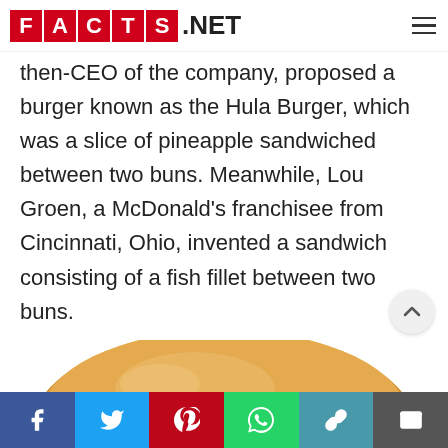FACTS.NET
then-CEO of the company, proposed a burger known as the Hula Burger, which was a slice of pineapple sandwiched between two buns. Meanwhile, Lou Groen, a McDonald's franchisee from Cincinnati, Ohio, invented a sandwich consisting of a fish fillet between two buns.
[Figure (photo): A fish fillet sandwich with tartar sauce on a round bun, partially visible at the bottom of the page.]
Social sharing buttons: Facebook, Twitter, Pinterest, WhatsApp, Link, Email